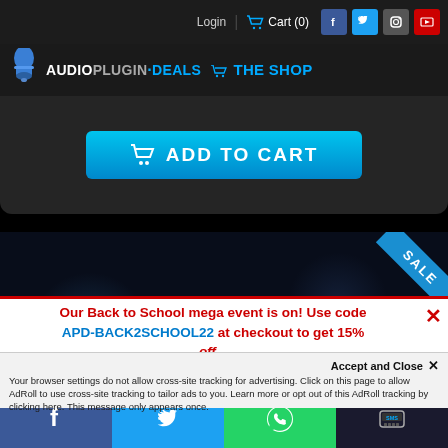Login  Cart (0)  [Facebook] [Twitter] [Instagram] [YouTube]
[Figure (logo): AudioPlugin.Deals The Shop logo with shopping cart icon and bell icon]
[Figure (screenshot): Add to Cart button (blue gradient) with shopping cart icon]
[Figure (screenshot): Ghosthack product banner on dark background with SALE badge in top-right corner]
Accept and Close ✕
Your browser settings do not allow cross-site tracking for advertising. Click on this page to allow AdRoll to use cross-site tracking to tailor ads to you. Learn more or opt out of this AdRoll tracking by clicking here. This message only appears once.
Our Back to School mega event is on! Use code APD-BACK2SCHOOL22 at checkout to get 15% off...
[Figure (infographic): Social sharing bar with Facebook, Twitter, WhatsApp, and SMS icons]